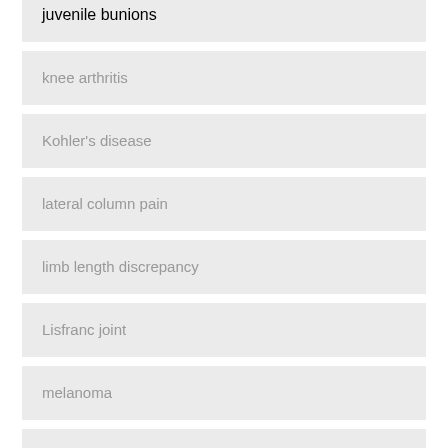juvenile bunions
knee arthritis
Kohler's disease
lateral column pain
limb length discrepancy
Lisfranc joint
melanoma
metatarsalgia